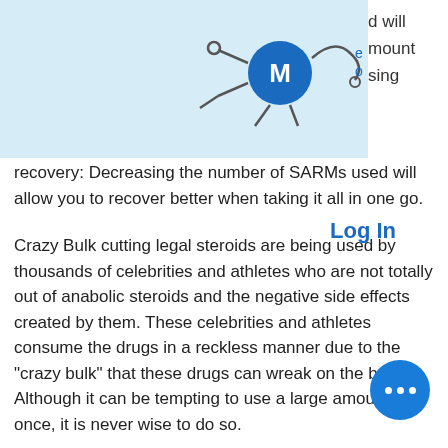[Figure (logo): Bug/molecule logo icon with blue circle center and robotic arms on light blue banner background]
Log In
recovery: Decreasing the number of SARMs used will allow you to recover better when taking it all in one go.
Crazy Bulk cutting legal steroids are being used by thousands of celebrities and athletes who are not totally out of anabolic steroids and the negative side effects created by them. These celebrities and athletes consume the drugs in a reckless manner due to the "crazy bulk" that these drugs can wreak on the body. Although it can be tempting to use a large amount once, it is never wise to do so.
It's important to know that steroids should not be confused with over the counter,